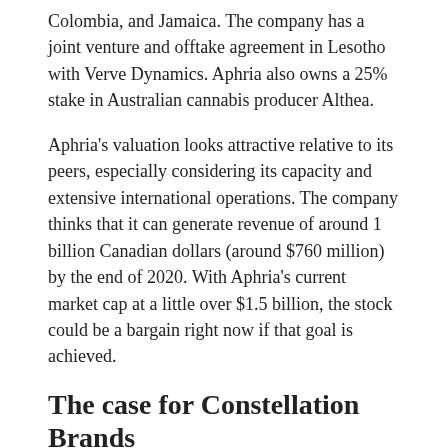Colombia, and Jamaica. The company has a joint venture and offtake agreement in Lesotho with Verve Dynamics. Aphria also owns a 25% stake in Australian cannabis producer Althea.
Aphria's valuation looks attractive relative to its peers, especially considering its capacity and extensive international operations. The company thinks that it can generate revenue of around 1 billion Canadian dollars (around $760 million) by the end of 2020. With Aphria's current market cap at a little over $1.5 billion, the stock could be a bargain right now if that goal is achieved.
The case for Constellation Brands
There are at least two key arguments for why investors should consider buying Constellation Brands stock. Probably the most important one is the company's continued dominance in the U.S. premium beer market.
Sales for Constellation's Corona and Modelo premium beer brands are...